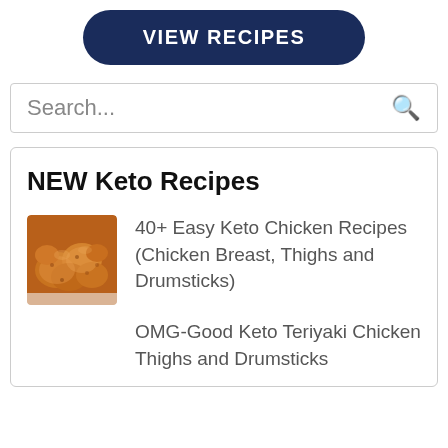[Figure (other): Dark navy blue rounded rectangle button with white bold uppercase text 'VIEW RECIPES']
Search...
NEW Keto Recipes
[Figure (photo): Photo of fried/breaded chicken pieces, golden-brown color]
40+ Easy Keto Chicken Recipes (Chicken Breast, Thighs and Drumsticks)
OMG-Good Keto Teriyaki Chicken Thighs and Drumsticks